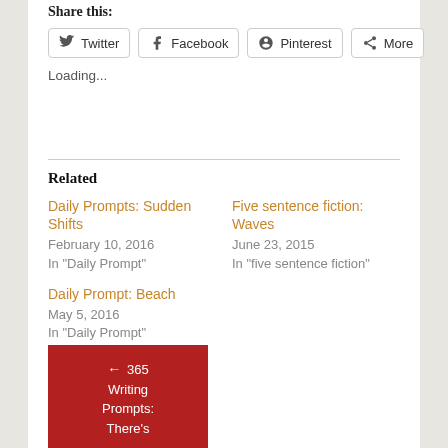Share this:
Twitter
Facebook
Pinterest
More
Loading...
Related
Daily Prompts: Sudden Shifts
February 10, 2016
In "Daily Prompt"
Five sentence fiction: Waves
June 23, 2015
In "five sentence fiction"
Daily Prompt: Beach
May 5, 2016
In "Daily Prompt"
← 365 Writing Prompts: There's